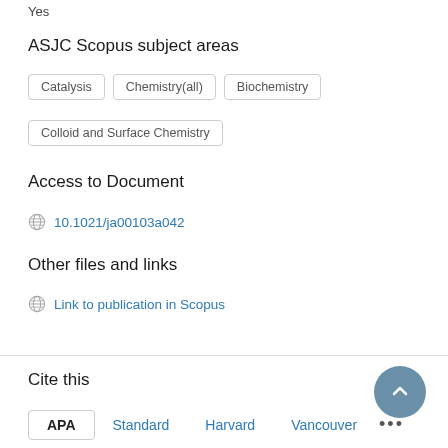Yes
ASJC Scopus subject areas
Catalysis
Chemistry(all)
Biochemistry
Colloid and Surface Chemistry
Access to Document
10.1021/ja00103a042
Other files and links
Link to publication in Scopus
Cite this
APA  Standard  Harvard  Vancouver  ...